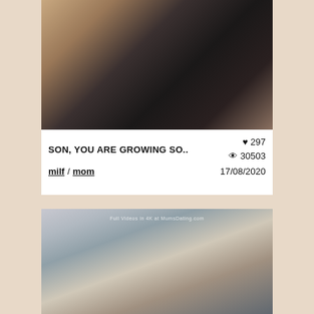[Figure (screenshot): Video thumbnail top — close-up of person in black pants with hand touching side, cropped body shot]
SON, YOU ARE GROWING SO..
♥ 297
👁 30503
17/08/2020
milf / mom
[Figure (screenshot): Video thumbnail bottom — two people sitting on a grey sofa, one shirtless male and one woman in blue dress holding a book, indoor setting with plant in background]